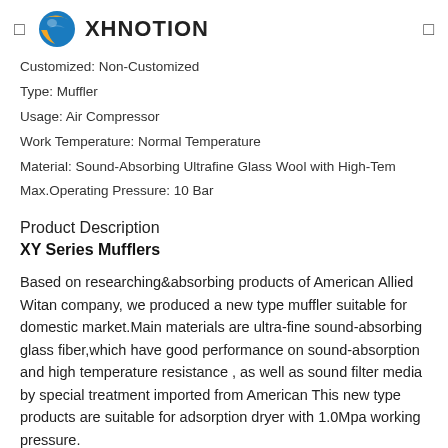XHNOTION
Customized: Non-Customized
Type: Muffler
Usage: Air Compressor
Work Temperature: Normal Temperature
Material: Sound-Absorbing Ultrafine Glass Wool with High-Tem
Max.Operating Pressure: 10 Bar
Product Description
XY Series Mufflers
Based on researching&absorbing products of American Allied Witan company, we produced a new type muffler suitable for domestic market.Main materials are ultra-fine sound-absorbing glass fiber,which have good performance on sound-absorption and high temperature resistance , as well as sound filter media by special treatment imported from American This new type products are suitable for adsorption dryer with 1.0Mpa working pressure.